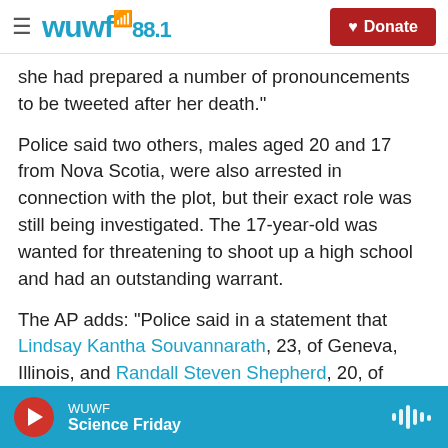WUWF 88.1 — Donate
she had prepared a number of pronouncements to be tweeted after her death."
Police said two others, males aged 20 and 17 from Nova Scotia, were also arrested in connection with the plot, but their exact role was still being investigated. The 17-year-old was wanted for threatening to shoot up a high school and had an outstanding warrant.
The AP adds: "Police said in a statement that Lindsay Kantha Souvannarath, 23, of Geneva, Illinois, and Randall Steven Shepherd, 20, of Nova Scotia, have been charged with conspiracy to commit murder.
WUWF — Science Friday